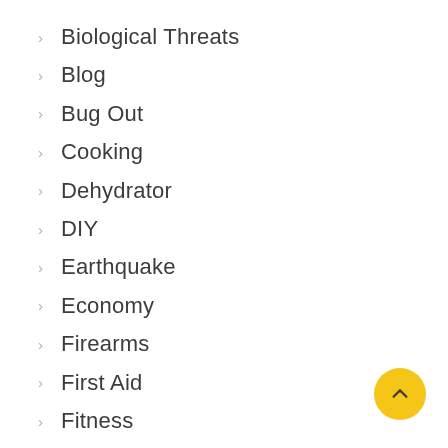Biological Threats
Blog
Bug Out
Cooking
Dehydrator
DIY
Earthquake
Economy
Firearms
First Aid
Fitness
Food
Freeze Dryer
Gardening